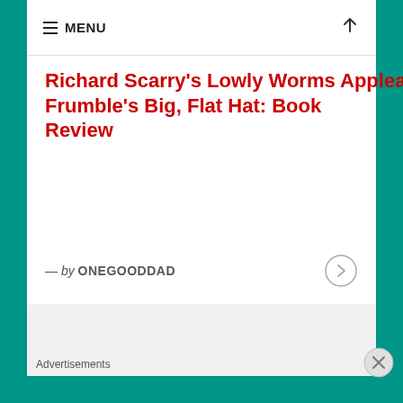MENU
Richard Scarry's Lowly Worms Applear and Mr. Frumble's Big, Flat Hat: Book Review
— by ONEGOODDAD
Advertisements